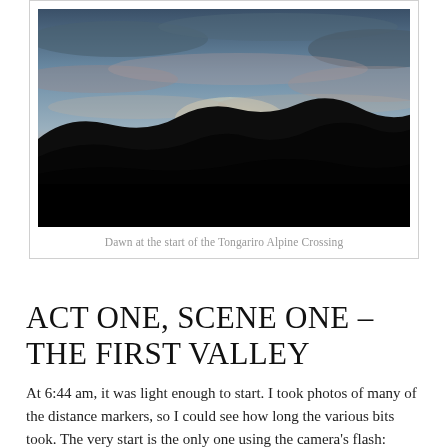[Figure (photo): Dawn landscape photo showing dark silhouetted hills against a twilight sky with blue and pink-tinted clouds, taken at the start of the Tongariro Alpine Crossing]
Dawn at the start of the Tongariro Alpine Crossing
ACT ONE, SCENE ONE – THE FIRST VALLEY
At 6:44 am, it was light enough to start. I took photos of many of the distance markers, so I could see how long the various bits took. The very start is the only one using the camera's flash: